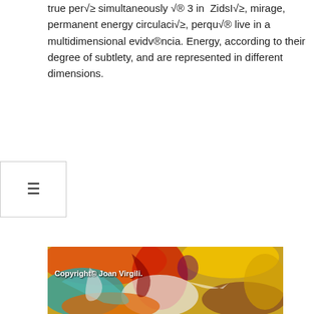true per√≥ simultaneously √® 3 in  ZidsI√≥, mirage, permanent energy circulaci√≥, perqu√® live in a multidimensional evidv®ncia. Energy, according to their degree of subtlety, and are represented in different dimensions.
[Figure (illustration): Abstract colorful digital artwork with swirling forms in red, orange, yellow, teal, white and brown, with a copyright watermark reading 'Copyright© Joan Virgili.']